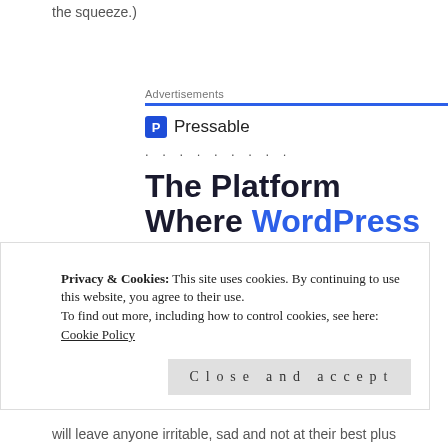the squeeze.)
Advertisements
[Figure (logo): Pressable logo with blue icon featuring letter P and the word Pressable]
. . . . . . . . .
The Platform Where WordPress Works Best
[Figure (other): SEE PRICING button partially visible]
Privacy & Cookies: This site uses cookies. By continuing to use this website, you agree to their use.
To find out more, including how to control cookies, see here: Cookie Policy
Close and accept
will leave anyone irritable, sad and not at their best plus